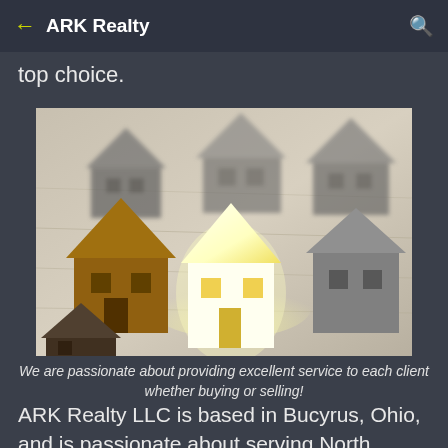← ARK Realty 🔍
top choice.
[Figure (photo): Several model house cutouts arranged on a wooden surface; one house in the center glows bright yellow/white, surrounded by dark gold and grey houses, suggesting it stands out from the rest.]
We are passionate about providing excellent service to each client whether buying or selling!
ARK Realty LLC is based in Bucyrus, Ohio, and is passionate about serving North Central Ohio!